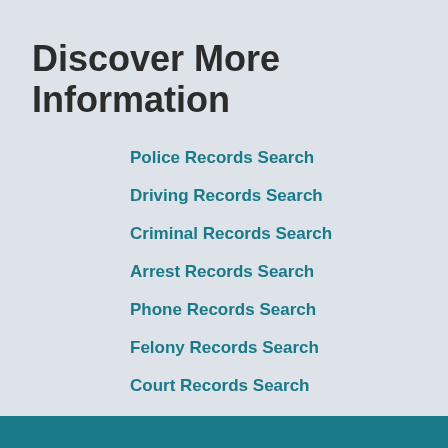Discover More Information
Police Records Search
Driving Records Search
Criminal Records Search
Arrest Records Search
Phone Records Search
Felony Records Search
Court Records Search
Jail Records Search